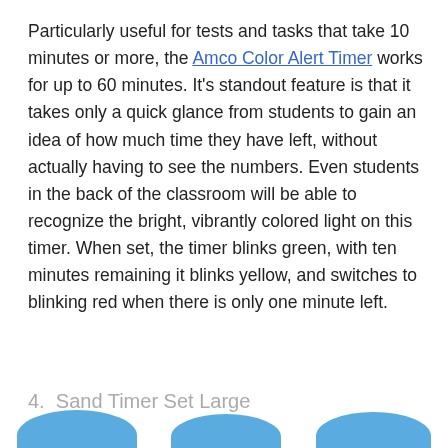Particularly useful for tests and tasks that take 10 minutes or more, the Amco Color Alert Timer works for up to 60 minutes. It's standout feature is that it takes only a quick glance from students to gain an idea of how much time they have left, without actually having to see the numbers. Even students in the back of the classroom will be able to recognize the bright, vibrantly colored light on this timer. When set, the timer blinks green, with ten minutes remaining it blinks yellow, and switches to blinking red when there is only one minute left.
4.  Sand Timer Set Large